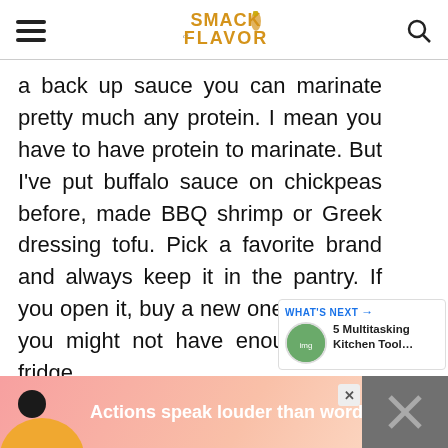Smack of Flavor
a back up sauce you can marinate pretty much any protein. I mean you have to have protein to marinate. But I’ve put buffalo sauce on chickpeas before, made BBQ shrimp or Greek dressing tofu. Pick a favorite brand and always keep it in the pantry. If you open it, buy a new one. Because you might not have enough in the fridge.
[Figure (other): Advertisement banner: person figure on left with text 'Actions speak louder than words.' on pink/coral gradient background. Close button and dark panel with X on right.]